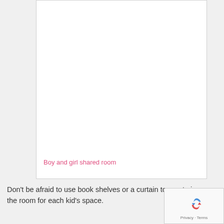[Figure (photo): Image card showing a boy and girl shared room, mostly white/blank content area with pink caption text at bottom]
Boy and girl shared room
Don't be afraid to use book shelves or a curtain to create in the room for each kid's space.